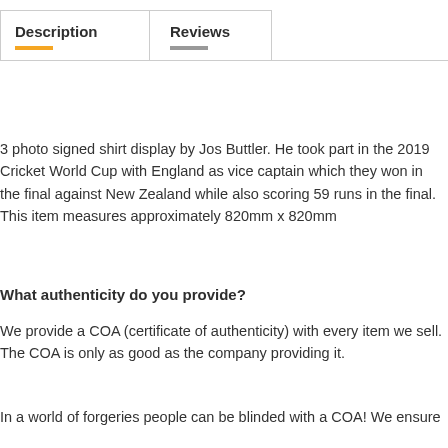Description
Reviews
3 photo signed shirt display by Jos Buttler. He took part in the 2019 Cricket World Cup with England as vice captain which they won in the final against New Zealand while also scoring 59 runs in the final. This item measures approximately 820mm x 820mm
What authenticity do you provide?
We provide a COA (certificate of authenticity) with every item we sell. The COA is only as good as the company providing it.
In a world of forgeries people can be blinded with a COA! We ensure